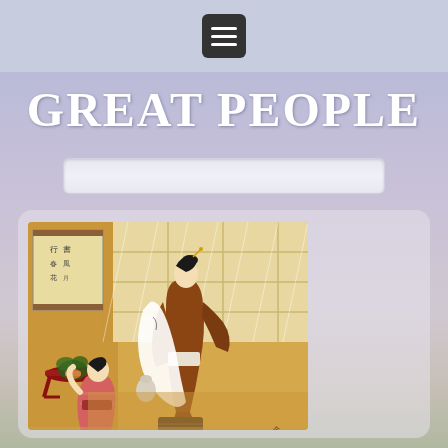Navigation menu button
GREAT PEOPLE
[Figure (illustration): A Japanese woodblock print (ukiyo-e) depicting two women in traditional kimono in an interior setting. One woman stands examining or handling a long piece of fabric or paper, while a younger woman (possibly a servant or apprentice) stands behind her. The room features shoji screens, a standing flower vase, a red lacquer table with bonsai or decorative items, and golden painted panels. Snow or rain is visible through the window. The style is reminiscent of Suzuki Harunobu or similar Edo period artists.]